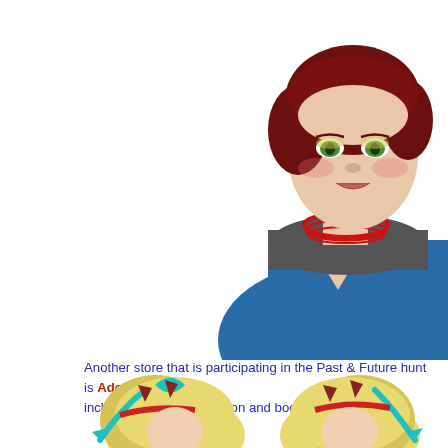[Figure (illustration): 3D rendered female avatar with short dark red hair, green eyes, wearing a blue top with dark grey cowl/scarf and red necklace/choker, cropped at torso level, positioned in upper right of page]
Another store that is participating in the Past & Future hunt is AdeleArts Mano... including the hairdecoration and boots, is yours!
[Figure (illustration): Two cropped images at bottom of page showing blonde anime-style hairstyles with red headbands and teal/cyan ribbon decorations with small red horns/decorations]